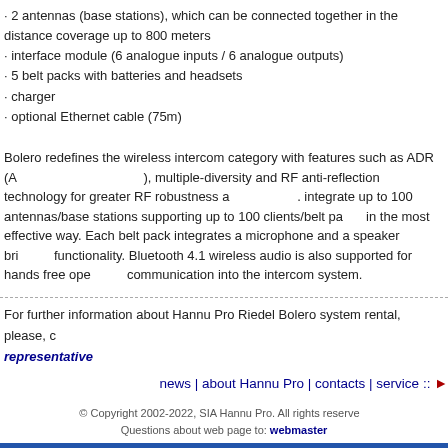· 2 antennas (base stations), which can be connected together in the distance coverage up to 800 meters
· interface module (6 analogue inputs / 6 analogue outputs)
· 5 belt packs with batteries and headsets
· charger
· optional Ethernet cable (75m)
Bolero redefines the wireless intercom category with features such as ADR (Advanced Digital Radio), multiple-diversity and RF anti-reflection technology for greater RF robustness and reliability. You can integrate up to 100 antennas/base stations supporting up to 100 clients/belt packs in the most effective way. Each belt pack integrates a microphone and a speaker bringing full duplex functionality. Bluetooth 4.1 wireless audio is also supported for hands free operation integrating cell communication into the intercom system.
For further information about Hannu Pro Riedel Bolero system rental, please, contact our representative
news | about Hannu Pro | contacts | service ::
© Copyright 2002-2022, SIA Hannu Pro. All rights reserved. Questions about web page to: webmaster